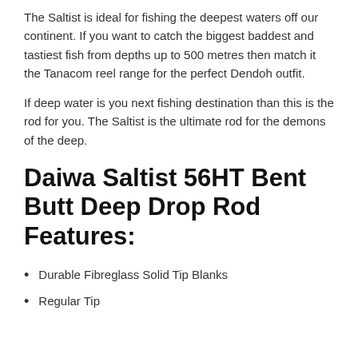The Saltist is ideal for fishing the deepest waters off our continent. If you want to catch the biggest baddest and tastiest fish from depths up to 500 metres then match it the Tanacom reel range for the perfect Dendoh outfit.
If deep water is you next fishing destination than this is the rod for you. The Saltist is the ultimate rod for the demons of the deep.
Daiwa Saltist 56HT Bent Butt Deep Drop Rod Features:
Durable Fibreglass Solid Tip Blanks
Regular Tip